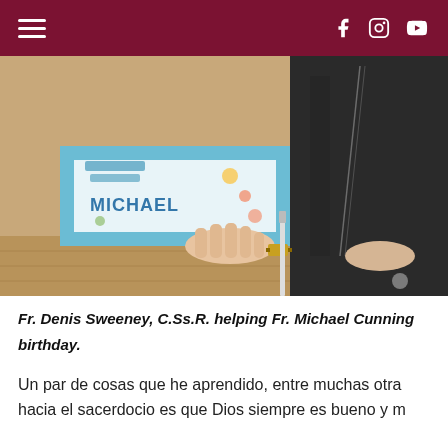navigation header with hamburger menu and social icons (Facebook, Instagram, YouTube)
[Figure (photo): Photo of Fr. Denis Sweeney, C.Ss.R. helping Fr. Michael Cunningham cut a birthday cake with 'Happy Birthday Michael' written on it. A person in dark clothing holds the cake while another hand holds a knife.]
Fr. Denis Sweeney, C.Ss.R. helping Fr. Michael Cunningham cut his birthday.
Un par de cosas que he aprendido, entre muchas otras hacia el sacerdocio es que Dios siempre es bueno y m